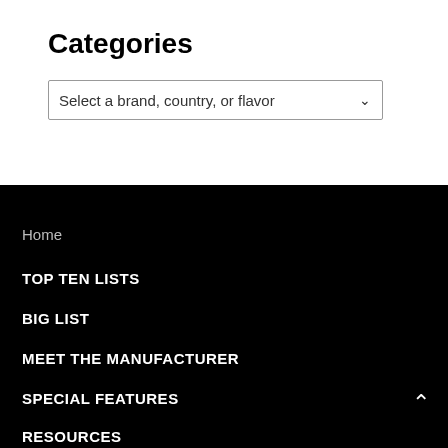Categories
Select a brand, country, or flavor
Home
TOP TEN LISTS
BIG LIST
MEET THE MANUFACTURER
SPECIAL FEATURES
RESOURCES